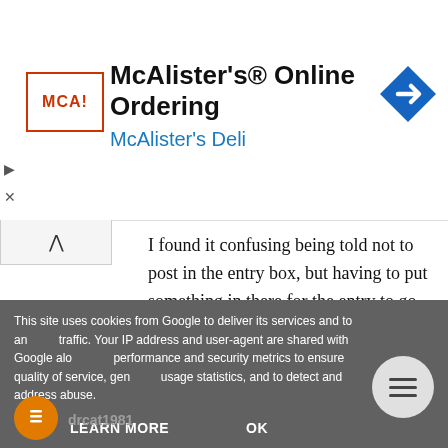[Figure (screenshot): Ad banner for McAlister's Online Ordering with McAlister's Deli logo, title, and navigation arrow icon]
I found it confusing being told not to post in the entry box, but having to put something in there for the entry to go through.
Reply
Beverley
11 February 2014 at 16:19
I just love the Parisian bracelet - it's stunning!
This site uses cookies from Google to deliver its services and to analyze traffic. Your IP address and user-agent are shared with Google along with performance and security metrics to ensure quality of service, generate usage statistics, and to detect and address abuse.
LEARN MORE
OK
drcat1981